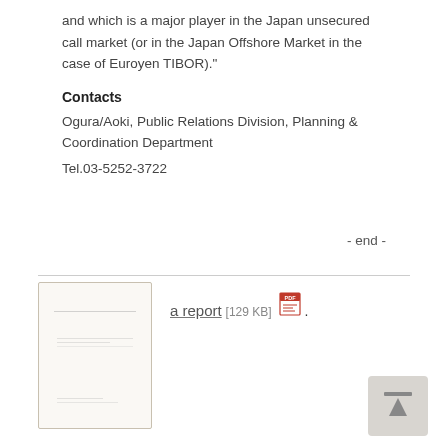and which is a major player in the Japan unsecured call market (or in the Japan Offshore Market in the case of Euroyen TIBOR)."
Contacts
Ogura/Aoki, Public Relations Division, Planning & Coordination Department
Tel.03-5252-3722
- end -
[Figure (other): Thumbnail preview of a PDF document report]
a report  [129 KB]